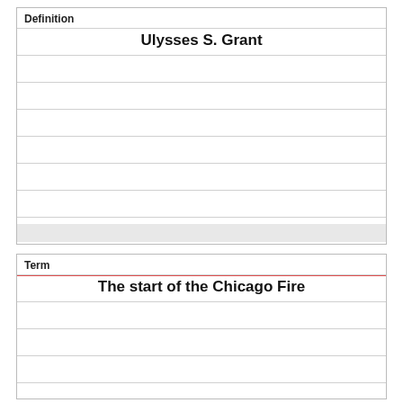Definition
Ulysses S. Grant
Term
The start of the Chicago Fire